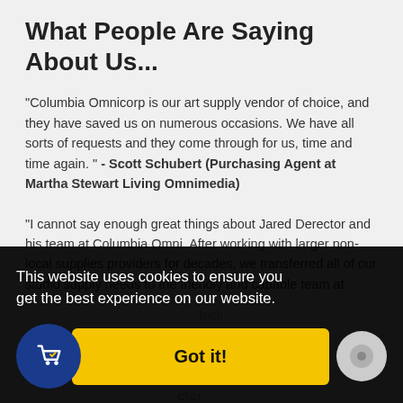What People Are Saying About Us...
“Columbia Omnicorp is our art supply vendor of choice, and they have saved us on numerous occasions. We have all sorts of requests and they come through for us, time and time again. ” - Scott Schubert (Purchasing Agent at Martha Stewart Living Omnimedia)
“I cannot say enough great things about Jared Derector and his team at Columbia Omni. After working with larger non-local supplies providers for decades, we transferred all of our studio supply needs to the friendly and capable team at [Columbia Omni]...
This website uses cookies to ensure you get the best experience on our website.
Got it!
ordering Pantone color swatches and books from Columbia